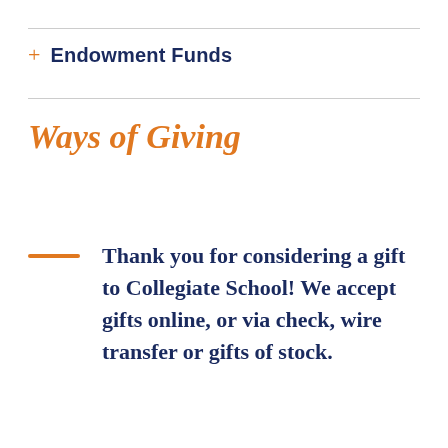+ Endowment Funds
Ways of Giving
Thank you for considering a gift to Collegiate School! We accept gifts online, or via check, wire transfer or gifts of stock.